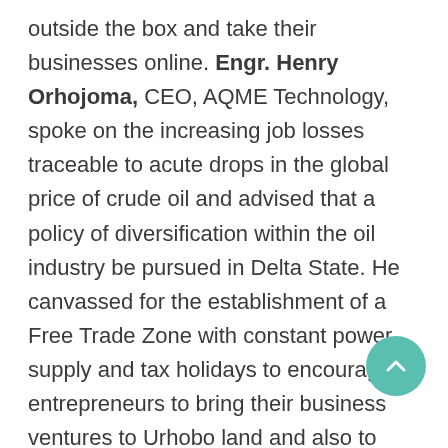outside the box and take their businesses online. Engr. Henry Orhojoma, CEO, AQME Technology, spoke on the increasing job losses traceable to acute drops in the global price of crude oil and advised that a policy of diversification within the oil industry be pursued in Delta State. He canvassed for the establishment of a Free Trade Zone with constant power supply and tax holidays to encourage entrepreneurs to bring their business ventures to Urhobo land and also to harness the manpower and technical expertise that will be leaving the oil industry as a result of the present situation. Kelvin Ogba Dafiaghor, the Chief Promoter for Artificial Intelligence in Africa, warned against implementing quick fixes and advised that the...